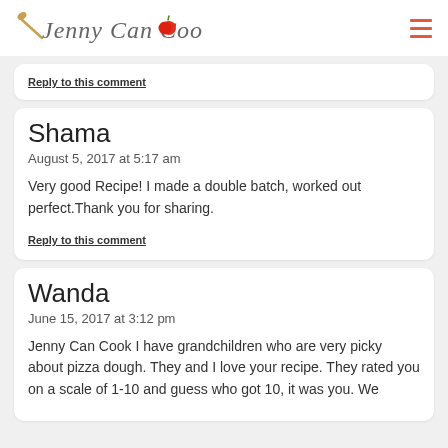Jenny Can Cook
Reply to this comment
Shama
August 5, 2017 at 5:17 am
Very good Recipe! I made a double batch, worked out perfect.Thank you for sharing.
Reply to this comment
Wanda
June 15, 2017 at 3:12 pm
Jenny Can Cook I have grandchildren who are very picky about pizza dough. They and I love your recipe. They rated you on a scale of 1-10 and guess who got 10, it was you. We